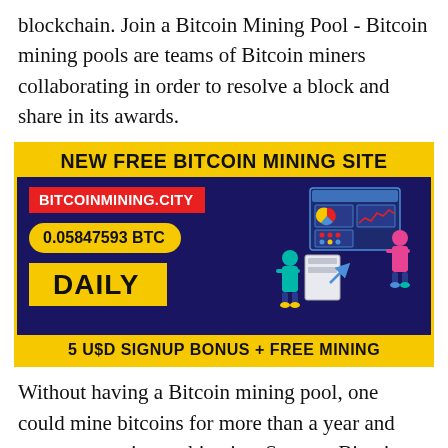blockchain. Join a Bitcoin Mining Pool - Bitcoin mining pools are teams of Bitcoin miners collaborating in order to resolve a block and share in its awards.
[Figure (infographic): Advertisement banner for 'New Free Bitcoin Mining Site' - BITCOINMINING.CITY, showing 0.05847593 BTC DAILY, with 5 USD SIGNUP BONUS + FREE MINING. Dark navy background with yellow accents and illustration of people with data dashboards.]
Without having a Bitcoin mining pool, one could mine bitcoins for more than a year and never ever gain any bitcoins. Set up a Bitcoin Wallet - Bitcoins are actually sent out to your Bitcoin wallet using a distinct address